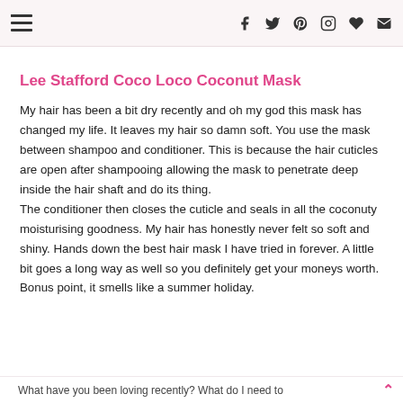navigation and social icons header
Lee Stafford Coco Loco Coconut Mask
My hair has been a bit dry recently and oh my god this mask has changed my life. It leaves my hair so damn soft. You use the mask between shampoo and conditioner. This is because the hair cuticles are open after shampooing allowing the mask to penetrate deep inside the hair shaft and do its thing.
The conditioner then closes the cuticle and seals in all the coconuty moisturising goodness. My hair has honestly never felt so soft and shiny. Hands down the best hair mask I have tried in forever. A little bit goes a long way as well so you definitely get your moneys worth. Bonus point, it smells like a summer holiday.
What have you been loving recently? What do I need to